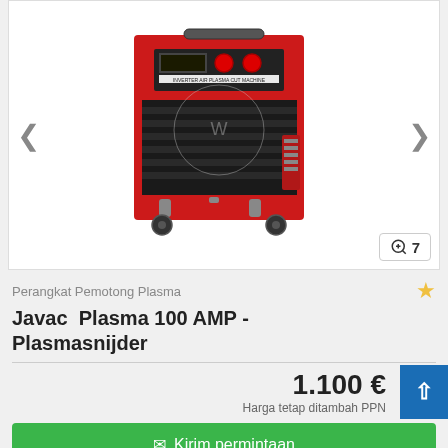[Figure (photo): Red and black Javac Plasma 100 AMP plasma cutting machine (Plasmasnijder) on wheels, with digital display and controls on front panel, INVERTER AIR PLASMA CUT MACHINE label visible]
Perangkat Pemotong Plasma
Javac  Plasma 100 AMP - Plasmasnijder
1.100 €
Harga tetap ditambah PPh
✉ Kirim permintaan
➤ Simpan pencarian